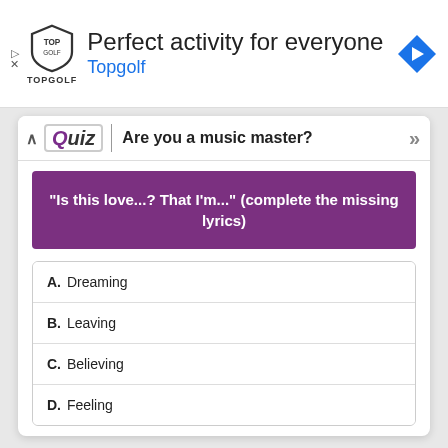[Figure (screenshot): Topgolf advertisement banner with shield logo, headline 'Perfect activity for everyone', 'Topgolf' subheadline in blue, and a blue navigation arrow icon on the right.]
Quiz | Are you a music master?
"Is this love...? That I'm..." (complete the missing lyrics)
A. Dreaming
B. Leaving
C. Believing
D. Feeling